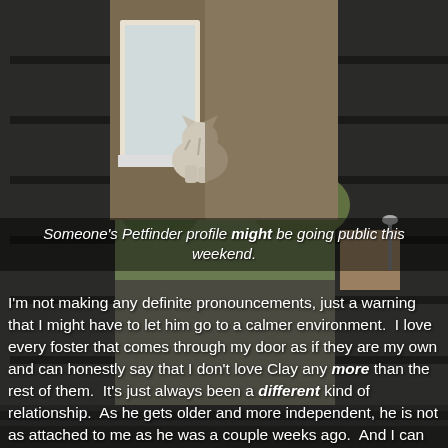[Figure (photo): Background photo showing an outdoor suburban scene with trees, a fence, buildings, and a street lamp, with dark blurred foreground elements. In the center-upper portion, a smaller photo shows a kitten climbing or hanging on a window sill and wall surface.]
Someone's Petfinder profile might be going public this weekend.
I'm not making any definite pronouncements, just a warning that I might have to let him go to a calmer environment.  I love every foster that comes through my door as if they are my own and can honestly say that I don't love Clay any more than the rest of them.  It's just always been a different kind of relationship.  As he gets older and more independent, he is not as attached to me as he was a couple weeks ago.  And I can see myself letting him go.  But... notice that I said "might".  I'm just not sure right now (and anytime you're not sure, it's probably safer to err on the side of "no".  Let's face it, there's always another kitten who will need a home...